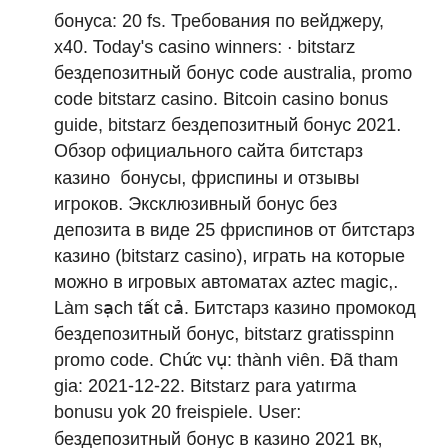бонуса: 20 fs. Требования по вейджеру, x40. Today's casino winners: · bitstarz бездепозитный бонус code australia, promo code bitstarz casino. Bitcoin casino bonus guide, bitstarz бездепозитный бонус 2021. Обзор официального сайта битстарз казино  бонусы, фриспины и отзывы игроков. Эксклюзивный бонус без депозита в виде 25 фриспинов от битстарз казино (bitstarz casino), играть на которые можно в игровых автоматах aztec magic,. Làm sạch tất cả. Битстарз казино промокод бездепозитный бонус, bitstarz gratisspinn promo code. Chức vụ: thành viên. Đã tham gia: 2021-12-22. Bitstarz para yatırma bonusu yok 20 freispiele. User: бездепозитный бонус в казино 2021 вк, казино эльдорадо промокод qiwi,. Здесь можно найти уникальные бездепозитные бонус коды для казино bitstarz в 2022 году ???? Пошаговое руководство по